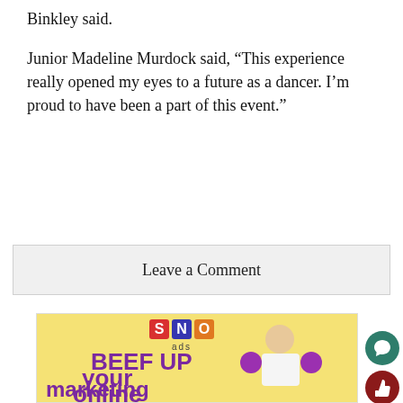Binkley said.
Junior Madeline Murdock said, “This experience really opened my eyes to a future as a dancer. I’m proud to have been a part of this event.”
Leave a Comment
[Figure (infographic): SNO ads advertisement banner with yellow background showing a nerdy man lifting purple dumbbells with text 'BEEF UP your online marketing']